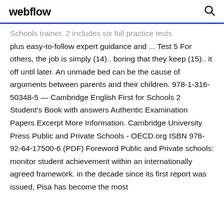webflow
Schools trainer. 2 includes six full practice tests plus easy-to-follow expert guidance and ... Test 5 For others, the job is simply (14).. boring that they keep (15).. it off until later. An unmade bed can be the cause of arguments between parents and their children. 978-1-316-50348-5 — Cambridge English First for Schools 2 Student's Book with answers Authentic Examination Papers Excerpt More Information. Cambridge University Press Public and Private Schools - OECD.org ISBN 978-92-64-17500-6 (PDF) Foreword Public and Private schools: monitor student achievement within an internationally agreed framework. in the decade since its first report was issued, Pisa has become the most